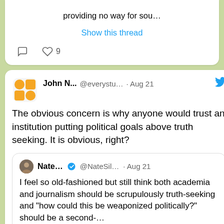providing no way for sou…
Show this thread
9
John N... @everystu... · Aug 21
The obvious concern is why anyone would trust an institution putting political goals above truth seeking. It is obvious, right?
Nate... @NateSil... · Aug 21
I feel so old-fashioned but still think both academia and journalism should be scrupulously truth-seeking and "how could this be weaponized politically?" should be a second-…
Show this thread
2
6